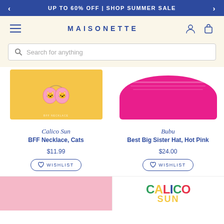UP TO 60% OFF | SHOP SUMMER SALE
[Figure (logo): MAISONETTE site logo with hamburger menu, user icon, and cart icon on cream background]
Search for anything
[Figure (photo): Calico Sun BFF Necklace Cats product image on golden card]
Calico Sun
BFF Necklace, Cats
$11.99
WISHLIST
[Figure (photo): Bubu Best Big Sister Hat in Hot Pink]
Bubu
Best Big Sister Hat, Hot Pink
$24.00
WISHLIST
[Figure (photo): Pink children's shirt partially visible at bottom left]
[Figure (logo): CALICO SUN logo in multicolor text partially visible at bottom right]